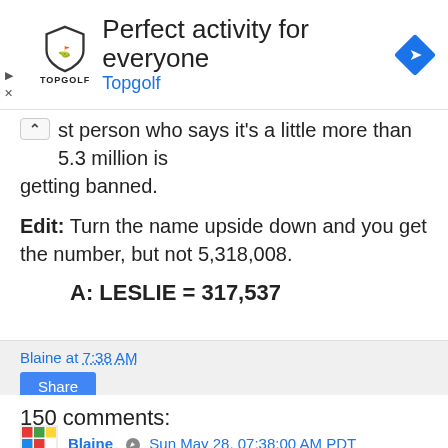[Figure (screenshot): Topgolf advertisement banner with shield logo, 'Perfect activity for everyone' headline, 'Topgolf' subtext in blue, and blue diamond navigation icon on right]
st person who says it's a little more than 5.3 million is getting banned.
Edit: Turn the name upside down and you get the number, but not 5,318,008.
A: LESLIE = 317,537
Blaine at 7:38 AM
Share
150 comments:
Blaine  Sun May 28, 07:38:00 AM PDT